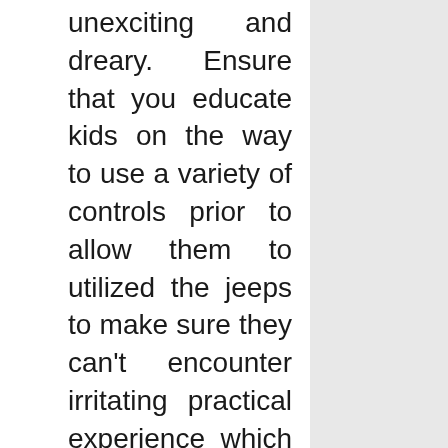unexciting and dreary. Ensure that you educate kids on the way to use a variety of controls prior to allow them to utilized the jeeps to make sure they can't encounter irritating practical experience which will make them angry. Next, be aware with the design you need to the jeeps in order to make your little drivers trendy and cool while having a great time. And finally, you should examine your price range when it is able to afford the kids jeep or otherwise not.

Your small drivers are not as older as you are so you must give them the correct expertise on the